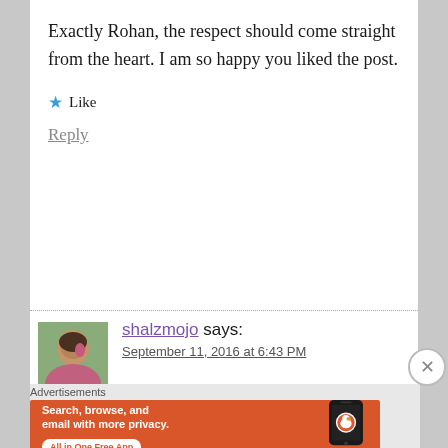Exactly Rohan, the respect should come straight from the heart. I am so happy you liked the post.
★ Like
Reply
shalzmojo says:
September 11, 2016 at 6:43 PM
[Figure (photo): Avatar thumbnail photo of commenter shalzmojo]
Advertisements
[Figure (illustration): DuckDuckGo advertisement banner: 'Search, browse, and email with more privacy. All in One Free App' with phone illustration and DuckDuckGo logo]